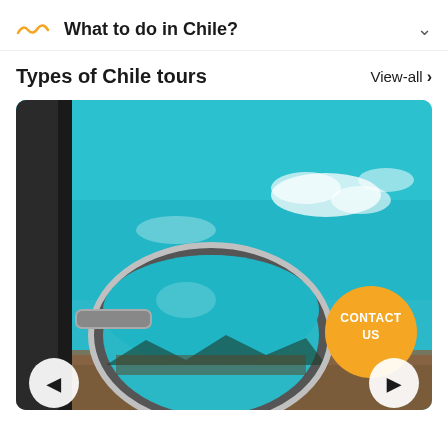What to do in Chile?
Types of Chile tours
View-all >
[Figure (photo): View from inside a car showing the side mirror reflecting a road and mountains, with a vivid teal/turquoise sky above. An orange 'CONTACT US' circular badge overlays the bottom-right of the image. Navigation arrows (left and right) are visible at the bottom corners.]